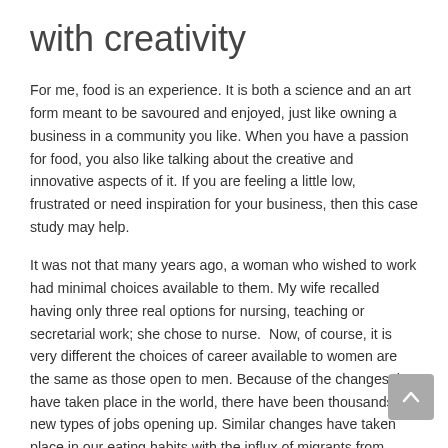with creativity
For me, food is an experience. It is both a science and an art form meant to be savoured and enjoyed, just like owning a business in a community you like. When you have a passion for food, you also like talking about the creative and innovative aspects of it. If you are feeling a little low, frustrated or need inspiration for your business, then this case study may help.
It was not that many years ago, a woman who wished to work had minimal choices available to them. My wife recalled having only three real options for nursing, teaching or secretarial work; she chose to nurse.  Now, of course, it is very different the choices of career available to women are the same as those open to men. Because of the changes that have taken place in the world, there have been thousands of new types of jobs opening up. Similar changes have taken place in our eating habits with the influx of migrants from around the world. Changes have taken place in our lifestyle; we no longer eat just 'meat and three vegetables'.
Chi...